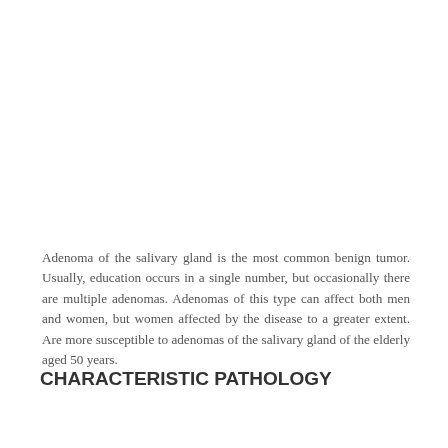Adenoma of the salivary gland is the most common benign tumor. Usually, education occurs in a single number, but occasionally there are multiple adenomas. Adenomas of this type can affect both men and women, but women affected by the disease to a greater extent. Are more susceptible to adenomas of the salivary gland of the elderly aged 50 years.
CHARACTERISTIC PATHOLOGY